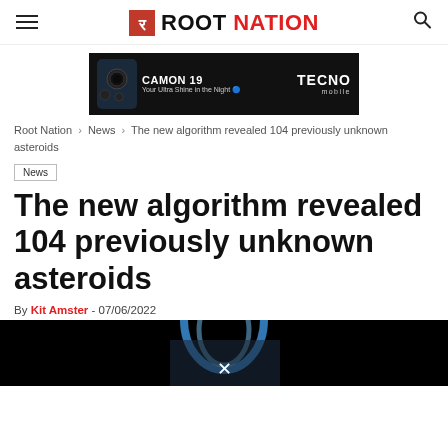ROOT NATION
[Figure (photo): TECNO mobile CAMON 19 advertisement banner - 'Your Ultra Shine in the Night']
Root Nation > News > The new algorithm revealed 104 previously unknown asteroids
News
The new algorithm revealed 104 previously unknown asteroids
By Kit Amster - 07/06/2022
[Figure (photo): Space image showing Earth with blue atmospheric glow against black space background]